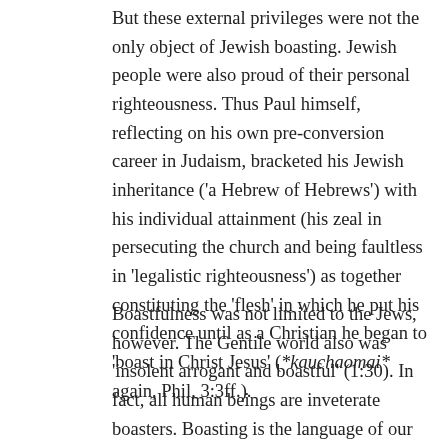But these external privileges were not the only object of Jewish boasting. Jewish people were also proud of their personal righteousness. Thus Paul himself, reflecting on his own pre-conversion career in Judaism, bracketed his Jewish inheritance ('a Hebrew of Hebrews') with his individual attainment (his zeal in persecuting the church and being faultless in 'legalistic righteousness') as together constituting the 'flesh' in which he put his confidence until as a Christian he began to 'boast in Christ Jesus' (*kauchaomai* again, Phil, 3:3ff.).
Boastfulness was not limited to the Jews, however. The Gentile world also was 'insolent arrogant and boastful' (1:30). In fact, all human beings are inveterate boasters. Boasting is the language of our fallen self-centredness. But in those who have been justified by faith, *boasting* is altogether *excluded*. This is not on the principle *of observing the law*, which might give grounds for boasting, *but on that of faith* (27), which attributes salvation entirely to Christ, and so silences all boasting.